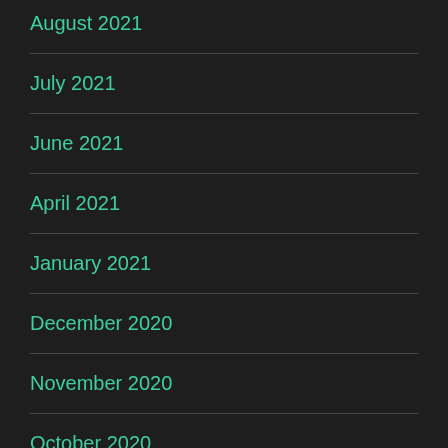August 2021
July 2021
June 2021
April 2021
January 2021
December 2020
November 2020
October 2020